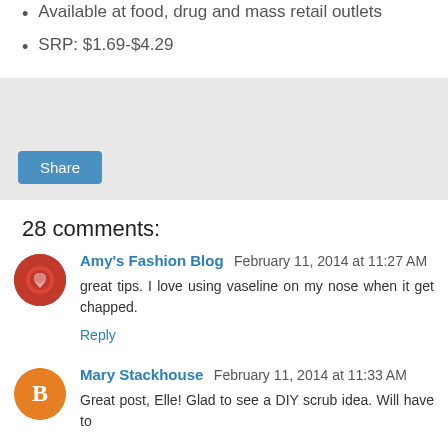Available at food, drug and mass retail outlets
SRP: $1.69-$4.29
[Figure (other): Share button widget area with light gray background]
28 comments:
Amy's Fashion Blog  February 11, 2014 at 11:27 AM
great tips. I love using vaseline on my nose when it get chapped.
Reply
Mary Stackhouse  February 11, 2014 at 11:33 AM
Great post, Elle! Glad to see a DIY scrub idea. Will have to